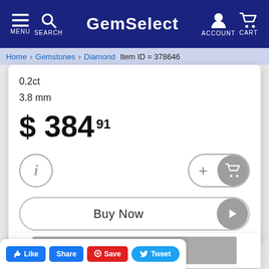GemSelect — MENU SEARCH ACCOUNT CART
Home  Gemstones  Diamond  Item ID = 378646
0.2ct
3.8 mm
$ 384 91
[Figure (other): Info (i) circle button]
[Figure (other): Add to cart button with plus sign and cart icon]
[Figure (other): Buy Now button with arrow icon]
[Figure (photo): Grey image placeholder below product card]
[Figure (other): Social sharing bar with Like, Share, Save, Tweet buttons]